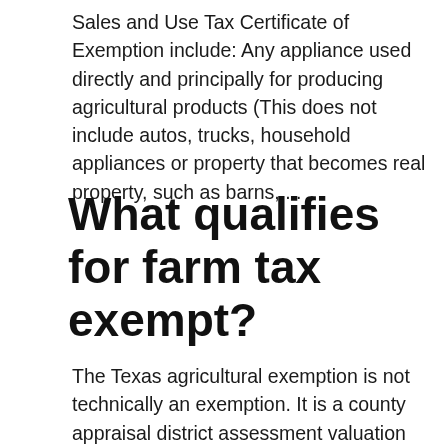Sales and Use Tax Certificate of Exemption include: Any appliance used directly and principally for producing agricultural products (This does not include autos, trucks, household appliances or property that becomes real property, such as barns, ...
What qualifies for farm tax exempt?
The Texas agricultural exemption is not technically an exemption. It is a county appraisal district assessment valuation based on agricultural use. Therefore, it is actually an agricultural ...